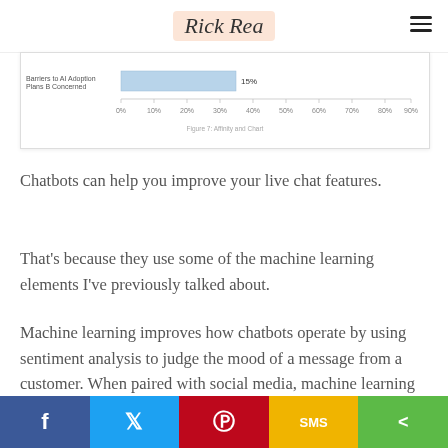Rick Rea
[Figure (bar-chart): Horizontal bar chart showing percentage data, partially visible at top of page. One bar labeled with 15% value visible.]
Chatbots can help you improve your live chat features.
That's because they use some of the machine learning elements I've previously talked about.
Machine learning improves how chatbots operate by using sentiment analysis to judge the mood of a message from a customer. When paired with social media, machine learning can gather more information about customers when it receives a new message.
Facebook Twitter Pinterest SMS Share